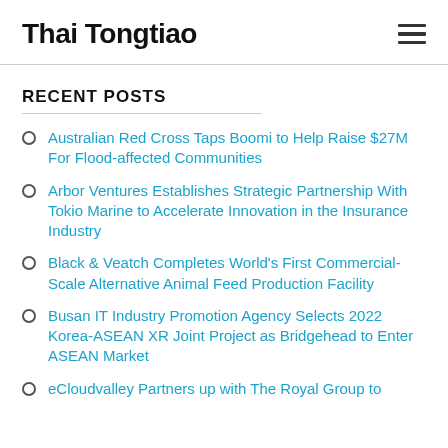Thai Tongtiao
RECENT POSTS
Australian Red Cross Taps Boomi to Help Raise $27M For Flood-affected Communities
Arbor Ventures Establishes Strategic Partnership With Tokio Marine to Accelerate Innovation in the Insurance Industry
Black & Veatch Completes World's First Commercial-Scale Alternative Animal Feed Production Facility
Busan IT Industry Promotion Agency Selects 2022 Korea-ASEAN XR Joint Project as Bridgehead to Enter ASEAN Market
eCloudvalley Partners up with The Royal Group to